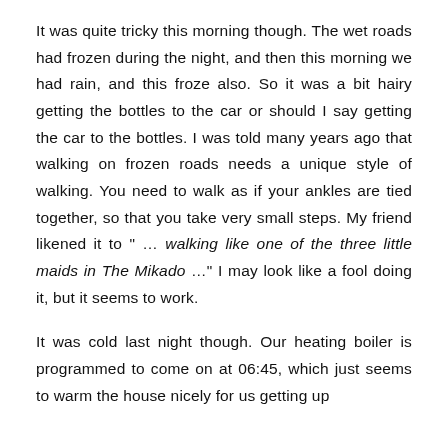It was quite tricky this morning though. The wet roads had frozen during the night, and then this morning we had rain, and this froze also. So it was a bit hairy getting the bottles to the car or should I say getting the car to the bottles. I was told many years ago that walking on frozen roads needs a unique style of walking. You need to walk as if your ankles are tied together, so that you take very small steps. My friend likened it to " … walking like one of the three little maids in The Mikado …" I may look like a fool doing it, but it seems to work.
It was cold last night though. Our heating boiler is programmed to come on at 06:45, which just seems to warm the house nicely for us getting up